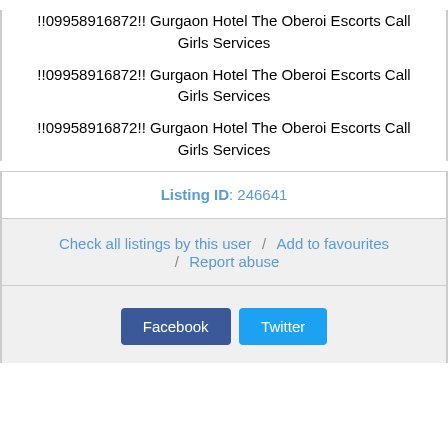!!09958916872!! Gurgaon Hotel The Oberoi Escorts Call Girls Services
!!09958916872!! Gurgaon Hotel The Oberoi Escorts Call Girls Services
!!09958916872!! Gurgaon Hotel The Oberoi Escorts Call Girls Services
Listing ID: 246641
Check all listings by this user / Add to favourites / Report abuse
[Figure (other): Facebook and Twitter social share buttons]